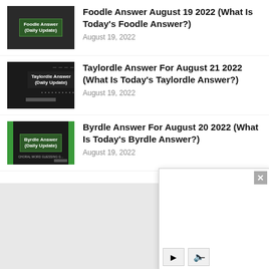Foodle Answer August 19 2022 (What Is Today's Foodle Answer?) — August 19, 2022
Taylordle Answer For August 21 2022 (What Is Today's Taylordle Answer?) — August 19, 2022
Byrdle Answer For August 20 2022 (What Is Today's Byrdle Answer?) — August 19, 2022
[Figure (screenshot): Popup video/ad overlay with close button (×) and playback controls (play and mute buttons)]
ANIM
At Anime Filler L... to anime Filler a...